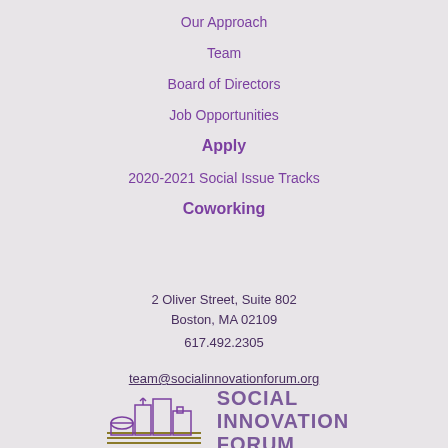Our Approach
Team
Board of Directors
Job Opportunities
Apply
2020-2021 Social Issue Tracks
Coworking
2 Oliver Street, Suite 802
Boston, MA 02109
617.492.2305
team@socialinnovationforum.org
[Figure (logo): Social Innovation Forum logo with stylized city skyline illustration in purple and olive/gold colors, text reads SOCIAL INNOVATION FORUM]